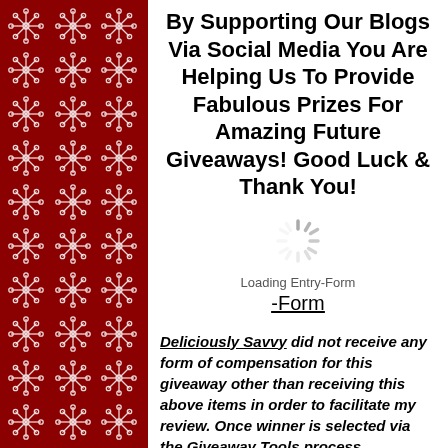[Figure (illustration): Red background sidebar with white snowflake pattern decorations arranged in a grid]
By Supporting Our Blogs Via Social Media You Are Helping Us To Provide Fabulous Prizes For Amazing Future Giveaways! Good Luck & Thank You!
[Figure (other): Spinning loading indicator icon]
Loading Entry-Form
-Form
Deliciously Savvy did not receive any form of compensation for this giveaway other than receiving this above items in order to facilitate my review. Once winner is selected via the Giveaway Tools process,